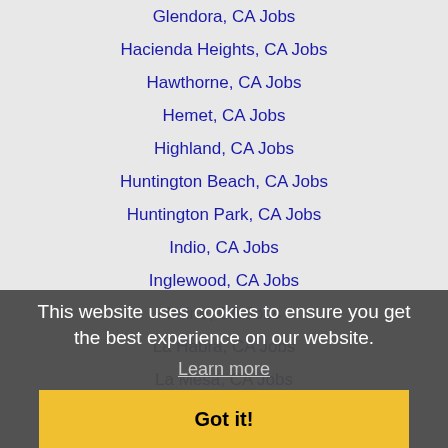Glendora, CA Jobs
Hacienda Heights, CA Jobs
Hawthorne, CA Jobs
Hemet, CA Jobs
Highland, CA Jobs
Huntington Beach, CA Jobs
Huntington Park, CA Jobs
Indio, CA Jobs
Inglewood, CA Jobs
Irvine, CA Jobs
La Habra, CA Jobs
La Mesa, CA Jobs
La Mirada, CA Jobs
La Puente, CA Jobs
La Quinta, CA Jobs
Laguna Beach, CA Jobs
Laguna Niguel, CA Jobs
Lake Elsinore, CA Jobs
This website uses cookies to ensure you get the best experience on our website.
Learn more
Got it!